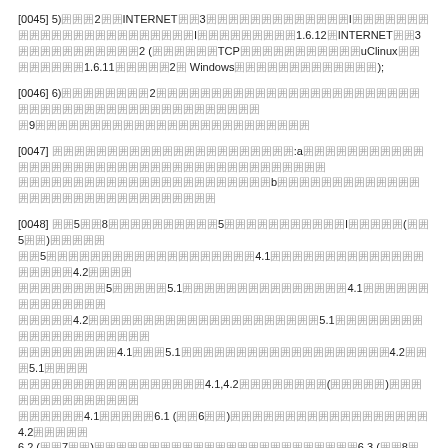[0045] 5)囲囲囲2囲囲INTERNET囲囲3囲囲囲囲囲囲囲囲囲囲囲囲囲I囲囲囲囲囲囲囲囲囲囲囲囲囲囲囲囲囲囲囲囲囲囲囲I囲囲囲囲囲囲囲囲囲1.6.12囲INTERNET囲囲3囲囲囲囲囲囲囲囲囲囲囲2(囲囲囲囲囲囲TCP囲囲囲囲囲囲囲囲囲囲囲uClinux囲囲囲囲囲囲囲囲1.6.11囲囲囲囲囲2囲Windows囲囲囲囲囲囲囲囲囲囲囲囲囲);
[0046] 6)囲囲囲囲囲囲囲囲2囲囲囲囲囲囲囲囲囲囲囲囲囲囲囲囲囲囲囲囲囲囲囲囲囲囲囲囲囲囲囲囲囲囲囲囲囲囲囲囲囲9囲囲囲囲囲囲囲囲囲囲囲囲囲囲囲囲囲囲囲囲囲囲囲囲囲囲
[0047] 囲囲囲囲囲囲囲囲囲囲囲囲囲囲囲囲囲囲囲囲囲囲:a囲囲囲囲囲囲囲囲囲囲囲囲囲囲囲囲囲囲囲囲囲囲囲囲囲囲囲囲囲囲囲囲囲囲囲囲囲囲囲b囲囲囲囲囲囲囲囲囲囲囲囲囲囲囲囲囲囲囲囲囲囲囲囲囲囲囲囲囲囲囲
[0048] 囲囲5囲囲8囲囲囲囲囲囲囲囲囲囲5囲囲囲囲囲囲囲囲囲囲囲I囲囲囲囲囲(囲囲5囲囲)囲囲囲囲囲囲5囲囲囲囲囲囲囲囲囲囲囲囲囲囲囲囲囲囲囲4.1囲囲囲囲囲囲囲囲囲囲囲囲囲囲囲囲囲囲囲4.2囲囲囲囲囲囲囲囲囲囲囲5囲囲囲囲囲5.1囲囲囲囲囲囲囲囲囲囲囲囲囲囲囲4.1囲囲囲囲囲囲囲囲囲囲囲囲囲囲囲囲囲4.2囲囲囲囲囲囲囲囲囲囲囲囲囲囲囲囲囲囲囲囲囲5.1囲囲囲囲囲囲囲囲囲囲囲囲囲囲囲囲囲囲囲囲囲囲4.1囲囲囲5.1囲囲囲囲囲囲囲囲囲囲囲囲囲囲囲囲囲囲囲4.2囲囲囲5.1囲囲囲囲囲囲囲囲囲囲囲囲囲囲囲囲囲囲囲囲囲囲4.1,4.2囲囲囲囲囲囲囲囲(囲囲囲囲囲)囲囲囲囲囲囲囲囲囲囲囲囲囲囲4.1囲囲囲囲囲6.1 (囲囲6囲囲)囲囲囲囲囲囲囲囲囲囲囲囲囲囲囲囲囲囲4.2囲囲囲囲囲6.2 (囲囲7囲囲)囲囲囲囲囲囲囲囲囲囲囲囲囲囲囲囲囲囲囲囲囲囲囲囲6.3 (囲囲8囲囲)囲囲囲囲囲囲7囲囲囲囲囲囲囲囲囲5囲囲囲囲囲5.1囲囲囲囲囲囲囲8囲
[0049] 囲囲囲囲囲囲囲囲囲囲囲囲囲囲囲囲囲囲囲囲囲囲囲囲囲囲囲囲囲囲囲囲囲囲囲囲囲囲囲囲囲囲囲囲囲囲囲囲囲囲囲囲囲囲囲囲囲囲囲囲囲囲囲囲囲囲囲囲囲囲囲囲囲囲囲囲囲囲囲囲囲囲囲